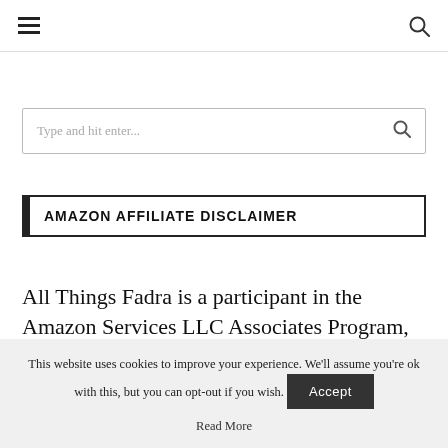[ hamburger menu icon ] [ search icon ]
[Figure (other): Search input box with placeholder text 'Type and hit enter...' and a search icon on the right]
AMAZON AFFILIATE DISCLAIMER
All Things Fadra is a participant in the Amazon Services LLC Associates Program, an affiliate
This website uses cookies to improve your experience. We'll assume you're ok with this, but you can opt-out if you wish. Accept
Read More